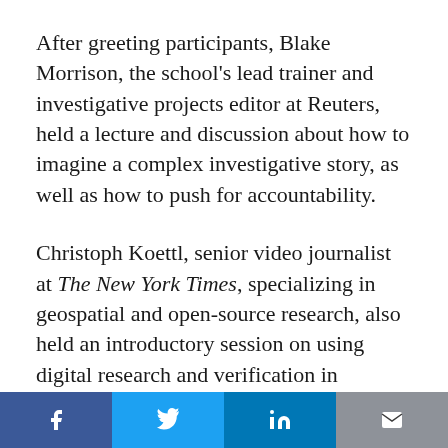After greeting participants, Blake Morrison, the school's lead trainer and investigative projects editor at Reuters, held a lecture and discussion about how to imagine a complex investigative story, as well as how to push for accountability.
Christoph Koettl, senior video journalist at The New York Times, specializing in geospatial and open-source research, also held an introductory session on using digital research and verification in investigative research.
He continued with a lecture on geospatial and satellite imagery used in investigative journalism,
Social share bar: Facebook, Twitter, LinkedIn, Email